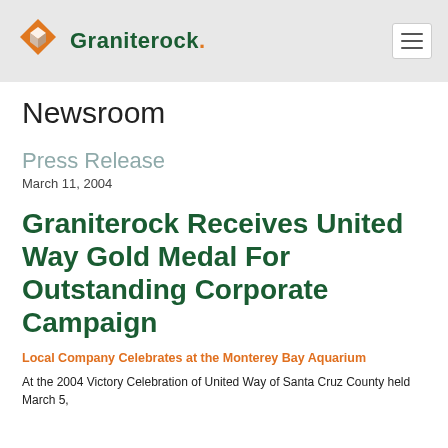Graniterock
Newsroom
Press Release
March 11, 2004
Graniterock Receives United Way Gold Medal For Outstanding Corporate Campaign
Local Company Celebrates at the Monterey Bay Aquarium
At the 2004 Victory Celebration of United Way of Santa Cruz County held March 5,